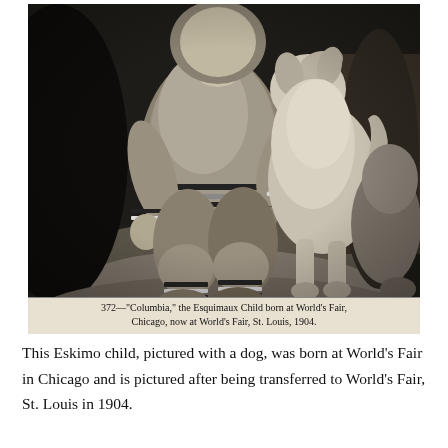[Figure (photo): Black and white historical photograph of an Eskimo (Inuit) child dressed in traditional fur clothing, kneeling and posing with a large dog (husky-type). The child wears a fur parka with striped trim at the cuffs and waist, fur trousers, and fur boots with striped trim. A second dog is partially visible on the right. The photo has a caption overlay at the bottom reading: 372—"Columbia," the Esquimaux Child born at World's Fair, Chicago, now at World's Fair, St. Louis, 1904.]
This Eskimo child, pictured with a dog, was born at World's Fair in Chicago and is pictured after being transferred to World's Fair, St. Louis in 1904.